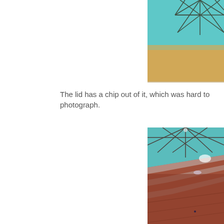[Figure (photo): Close-up photo of a teal/turquoise colored item with a starburst/asterisk decorative pattern on a tan/beige background, cropped at top]
The lid has a chip out of it, which was hard to photograph.
[Figure (photo): Close-up macro photo showing a glass lid with a chip/damage, with teal background featuring a starburst design and a warm brown/orange reflective surface below]